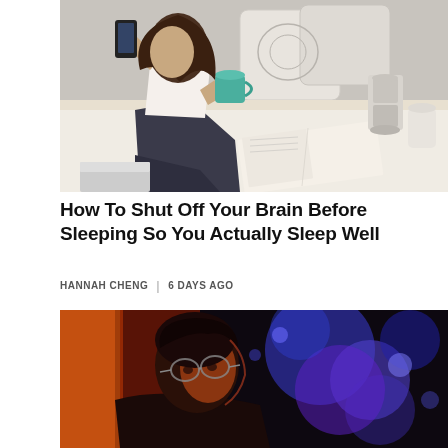[Figure (photo): Woman sitting on a bed with pillows, holding a smartphone and a teal mug, with a stovetop espresso maker nearby and an open book on the bed.]
How To Shut Off Your Brain Before Sleeping So You Actually Sleep Well
HANNAH CHENG | 6 DAYS AGO
[Figure (photo): Man with glasses in profile view lit by red and blue neon lights against a dark background.]